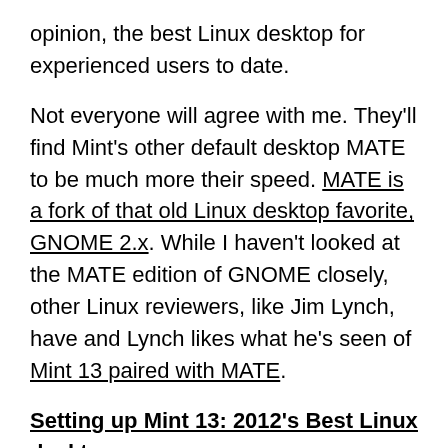opinion, the best Linux desktop for experienced users to date.
Not everyone will agree with me. They'll find Mint's other default desktop MATE to be much more their speed. MATE is a fork of that old Linux desktop favorite, GNOME 2.x. While I haven't looked at the MATE edition of GNOME closely, other Linux reviewers, like Jim Lynch, have and Lynch likes what he's seen of Mint 13 paired with MATE.
Setting up Mint 13: 2012's Best Linux desktop
Even with the little work I've done with MATE though I can see what GNOME 2.x fans will like it. It's a very clean desktop and it feels and works like a natural